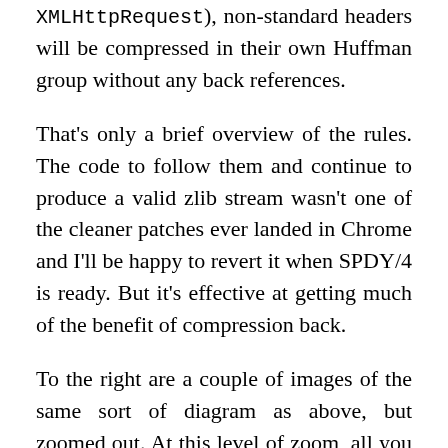XMLHttpRequest), non-standard headers will be compressed in their own Huffman group without any back references.
That's only a brief overview of the rules. The code to follow them and continue to produce a valid zlib stream wasn't one of the cleaner patches ever landed in Chrome and I'll be happy to revert it when SPDY/4 is ready. But it's effective at getting much of the benefit of compression back.
To the right are a couple of images of the same sort of diagram as above, but zoomed out. At this level of zoom, all you can really see are the blocks of red (literal) and blue (duplicated) bytes. The diagram on the right has the new rules enabled and, as you can see, there is not rich compressed in them. However, the th